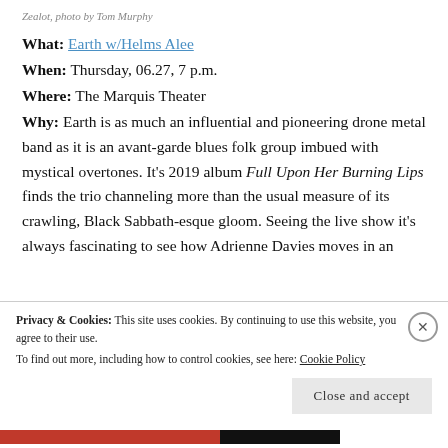Zealot, photo by Tom Murphy
What: Earth w/Helms Alee
When: Thursday, 06.27, 7 p.m.
Where: The Marquis Theater
Why: Earth is as much an influential and pioneering drone metal band as it is an avant-garde blues folk group imbued with mystical overtones. It's 2019 album Full Upon Her Burning Lips finds the trio channeling more than the usual measure of its crawling, Black Sabbath-esque gloom. Seeing the live show it's always fascinating to see how Adrienne Davies moves in an
Privacy & Cookies: This site uses cookies. By continuing to use this website, you agree to their use.
To find out more, including how to control cookies, see here: Cookie Policy